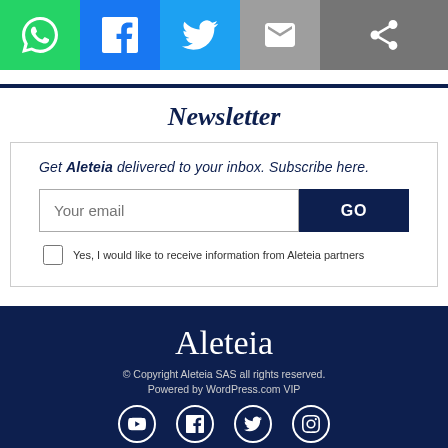[Figure (infographic): Social sharing bar with WhatsApp (green), Facebook (blue), Twitter (light blue), Email (gray), and More/Share (dark gray) buttons]
Newsletter
Get Aleteia delivered to your inbox. Subscribe here.
Your email [input box] GO [button] | Yes, I would like to receive information from Aleteia partners [checkbox]
Aleteia
© Copyright Aleteia SAS all rights reserved.
Powered by WordPress.com VIP